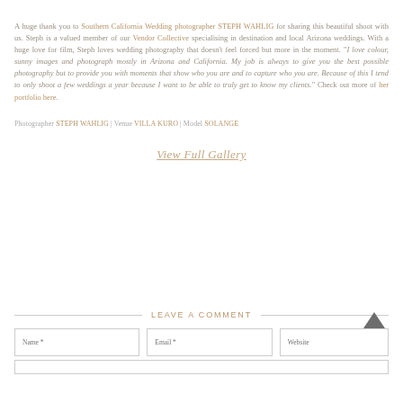A huge thank you to Southern California Wedding photographer STEPH WAHLIG for sharing this beautiful shoot with us. Steph is a valued member of our Vendor Collective specialising in destination and local Arizona weddings. With a huge love for film, Steph loves wedding photography that doesn't feel forced but more in the moment. "I love colour, sunny images and photograph mostly in Arizona and California. My job is always to give you the best possible photography but to provide you with moments that show who you are and to capture who you are. Because of this I tend to only shoot a few weddings a year because I want to be able to truly get to know my clients." Check out more of her portfolio here.
Photographer STEPH WAHLIG | Venue VILLA KURO | Model SOLANGE
View Full Gallery
LEAVE A COMMENT